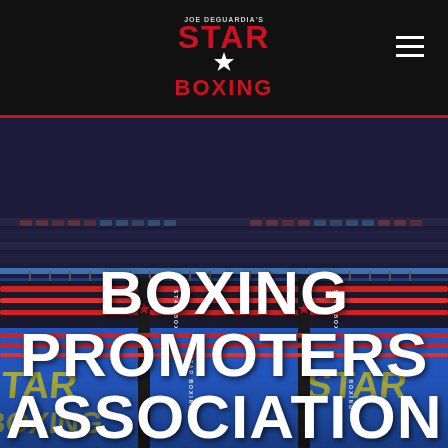Joe DeGuardia's Star Boxing
[Figure (photo): Boxing ring with blue canvas branded with Star Boxing logo, ring ropes visible with black corner posts labeled STAR BOXING, empty arena seats visible in background]
BOXING PROMOTERS ASSOCIATION